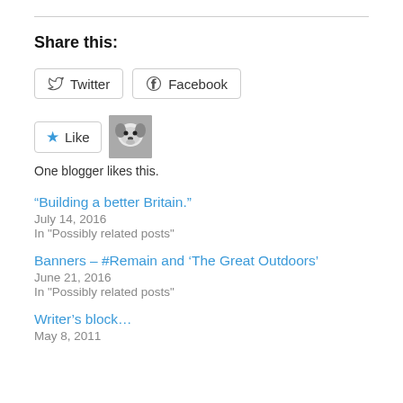Share this:
Twitter  Facebook
[Figure (other): Like button with star icon, and a small dog avatar photo]
One blogger likes this.
“Building a better Britain.”
July 14, 2016
In "Possibly related posts"
Banners – #Remain and ‘The Great Outdoors’
June 21, 2016
In "Possibly related posts"
Writer's block…
May 8, 2011